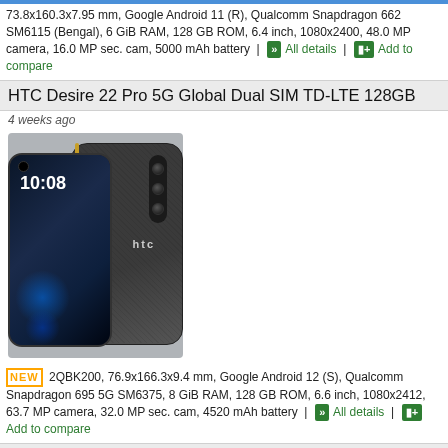73.8x160.3x7.95 mm, Google Android 11 (R), Qualcomm Snapdragon 662 SM6115 (Bengal), 6 GiB RAM, 128 GB ROM, 6.4 inch, 1080x2400, 48.0 MP camera, 16.0 MP sec. cam, 5000 mAh battery | All details | Add to compare
HTC Desire 22 Pro 5G Global Dual SIM TD-LTE 128GB
4 weeks ago
[Figure (photo): HTC Desire 22 Pro 5G smartphone shown from front and back angles on a light background]
NEW 2QBK200, 76.9x166.3x9.4 mm, Google Android 12 (S), Qualcomm Snapdragon 695 5G SM6375, 8 GiB RAM, 128 GB ROM, 6.6 inch, 1080x2412, 63.7 MP camera, 32.0 MP sec. cam, 4520 mAh battery | All details | Add to compare
HTC Desire 21 Pro 5G Global Dual SIM TD-LTE 128GB
4 weeks ago